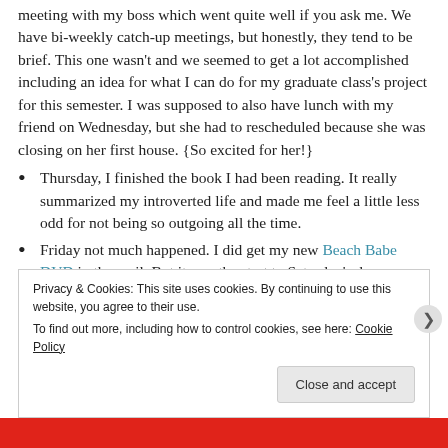meeting with my boss which went quite well if you ask me. We have bi-weekly catch-up meetings, but honestly, they tend to be brief. This one wasn't and we seemed to get a lot accomplished including an idea for what I can do for my graduate class's project for this semester. I was supposed to also have lunch with my friend on Wednesday, but she had to rescheduled because she was closing on her first house. {So excited for her!}
Thursday, I finished the book I had been reading. It really summarized my introverted life and made me feel a little less odd for not being so outgoing all the time.
Friday not much happened. I did get my new Beach Babe DVD in the mail. But it was the start to Saturday's drama.
Privacy & Cookies: This site uses cookies. By continuing to use this website, you agree to their use. To find out more, including how to control cookies, see here: Cookie Policy